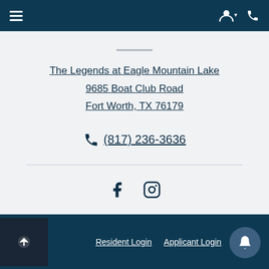Navigation bar with hamburger menu and user/phone icons
The Legends at Eagle Mountain Lake
9685 Boat Club Road
Fort Worth, TX 76179
(817) 236-3636
[Figure (other): Facebook and Instagram social media icons]
Resident Login  Applicant Login